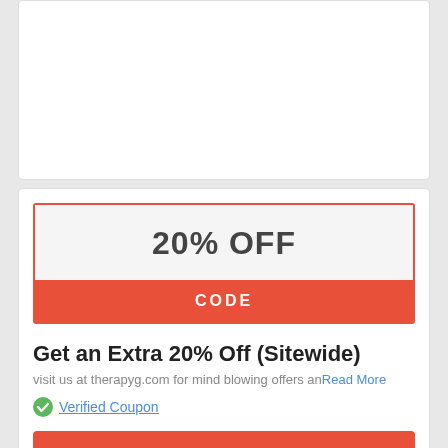[Figure (other): Empty white card area at the top of the page]
20% OFF
CODE
Get an Extra 20% Off (Sitewide)
visit us at therapyg.com for mind blowing offers and Read More
Verified Coupon
GET COUPON